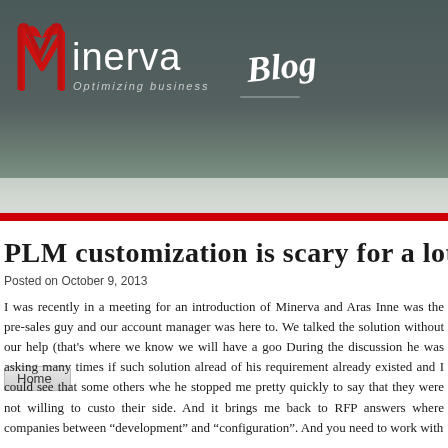[Figure (logo): Minerva logo with red stylized M icon, text 'minerva' and 'Optimizing business', and 'Blog' in cursive text to the right, on dark teal/grey header background]
Home
PLM customization is scary for a lot o
Posted on October 9, 2013
I was recently in a meeting for an introduction of Minerva and Aras Inne was the pre-sales guy and our account manager was here to. We talked the solution without our help (that's where we know we will have a goo During the discussion he was asking many times if such solution alread of his requirement already existed and I could see that some others whe he stopped me pretty quickly to say that they were not willing to custo their side. And it brings me back to RFP answers where companies between “development” and “configuration”. And you need to work with